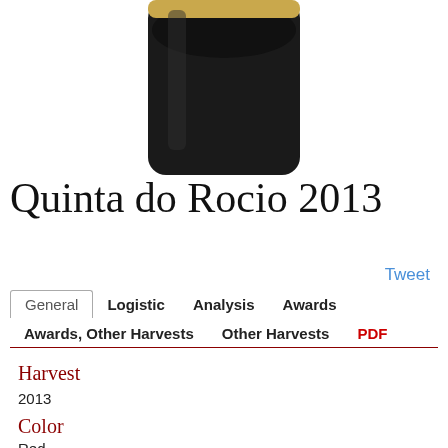[Figure (photo): Close-up of a dark wine bottle bottom/cap against white background]
Quinta do Rocio 2013
Tweet
General  Logistic  Analysis  Awards  Awards, Other Harvests  Other Harvests  PDF
Harvest
2013
Color
Red